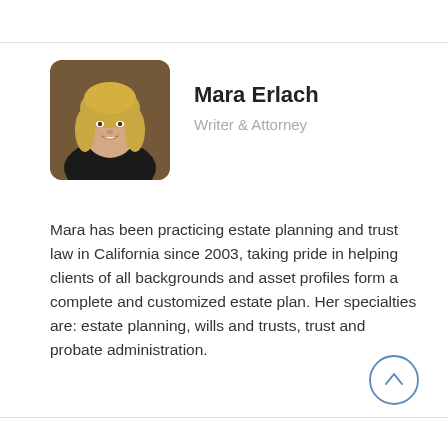[Figure (photo): Headshot photo of Mara Erlach, a blonde woman smiling, wearing a dark top, with a warm brown background]
Mara Erlach
Writer & Attorney
Mara has been practicing estate planning and trust law in California since 2003, taking pride in helping clients of all backgrounds and asset profiles form a complete and customized estate plan. Her specialties are: estate planning, wills and trusts, trust and probate administration.